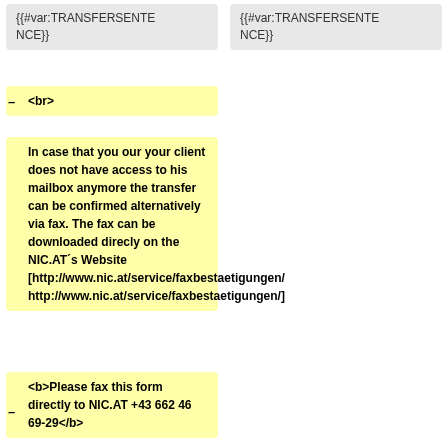{{#var:TRANSFERSENTENCE}}
{{#var:TRANSFERSENTENCE}}
–<br>
In case that you our your client does not have access to his mailbox anymore the transfer can be confirmed alternatively via fax. The fax can be downloaded direcly on the NIC.AT´s Website [http://www.nic.at/service/faxbestaetigungen/ http://www.nic.at/service/faxbestaetigungen/]
<b>Please fax this form directly to NIC.AT +43 662 46 69-29</b>
{{#var:TRANSFERDOMAINCOMMAND}}
{{#var:TRANSFERDOMAINCOMMAND}}
<span class="label label-
<span class="label label-